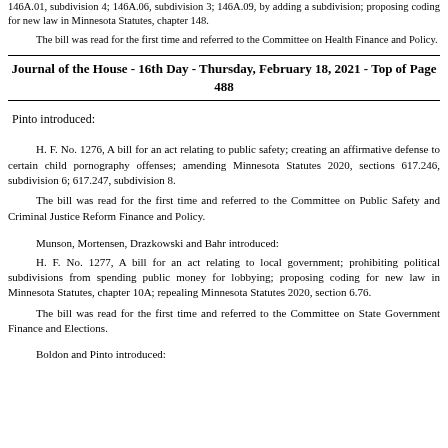146A.01, subdivision 4; 146A.06, subdivision 3; 146A.09, by adding a subdivision; proposing coding for new law in Minnesota Statutes, chapter 148.
The bill was read for the first time and referred to the Committee on Health Finance and Policy.
Journal of the House - 16th Day - Thursday, February 18, 2021 - Top of Page 488
Pinto introduced:
H. F. No. 1276, A bill for an act relating to public safety; creating an affirmative defense to certain child pornography offenses; amending Minnesota Statutes 2020, sections 617.246, subdivision 6; 617.247, subdivision 8.
The bill was read for the first time and referred to the Committee on Public Safety and Criminal Justice Reform Finance and Policy.
Munson, Mortensen, Drazkowski and Bahr introduced:
H. F. No. 1277, A bill for an act relating to local government; prohibiting political subdivisions from spending public money for lobbying; proposing coding for new law in Minnesota Statutes, chapter 10A; repealing Minnesota Statutes 2020, section 6.76.
The bill was read for the first time and referred to the Committee on State Government Finance and Elections.
Boldon and Pinto introduced: